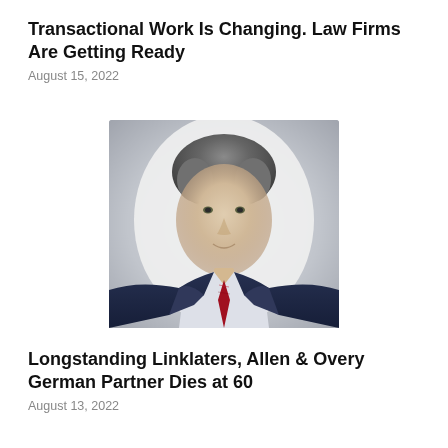Transactional Work Is Changing. Law Firms Are Getting Ready
August 15, 2022
[Figure (photo): Professional headshot of a middle-aged man with grey-brown hair, wearing a dark navy suit, white/light shirt, and red striped tie. He is smiling slightly and looking at the camera against a white background.]
Longstanding Linklaters, Allen & Overy German Partner Dies at 60
August 13, 2022